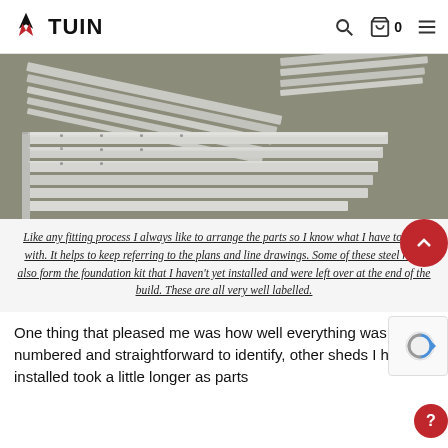TUIN
[Figure (photo): Metal steel rails and channels laid out on a concrete floor, various lengths, galvanized silver color]
Like any fitting process I always like to arrange the parts so I know what I have to deal with. It helps to keep referring to the plans and line drawings. Some of these steel rails also form the foundation kit that I haven't yet installed and were left over at the end of the build. These are all very well labelled.
One thing that pleased me was how well everything was numbered and straightforward to identify, other sheds I have installed took a little longer as parts